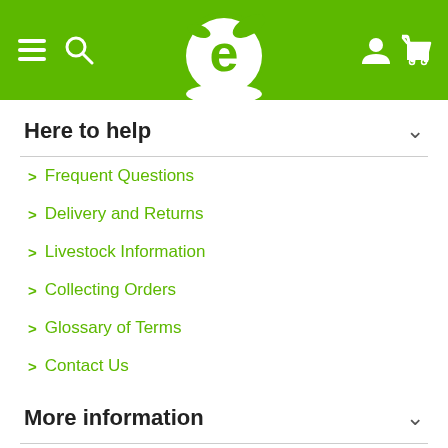Navigation header with hamburger menu, search, logo, user and cart icons
Here to help
Frequent Questions
Delivery and Returns
Livestock Information
Collecting Orders
Glossary of Terms
Contact Us
More information
Why Exotic Pets?
Customer Testimonials